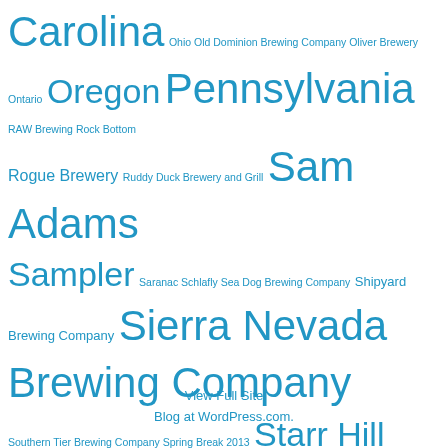Carolina Ohio Old Dominion Brewing Company Oliver Brewery Ontario Oregon Pennsylvania RAW Brewing Rock Bottom Rogue Brewery Ruddy Duck Brewery and Grill Sam Adams Sampler Saranac Schlafly Sea Dog Brewing Company Shipyard Brewing Company Sierra Nevada Brewing Company Southern Tier Brewing Company Spring Break 2013 Starr Hill Brewery Troegs Brewing Company Vermont Victory Brewing Company Virginia Washington D.C. Washington DC Widmer Brothers Brewing Company Wisconsin Yellowstone Trip 2011
View Full Site
Blog at WordPress.com.